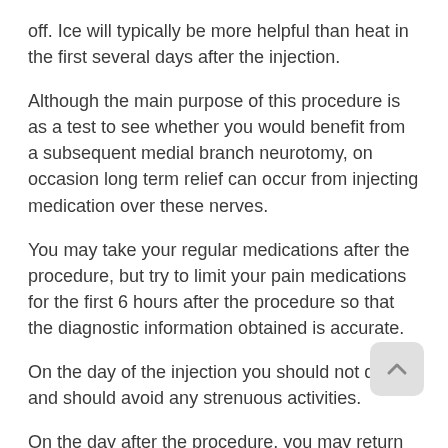off. Ice will typically be more helpful than heat in the first several days after the injection.
Although the main purpose of this procedure is as a test to see whether you would benefit from a subsequent medial branch neurotomy, on occasion long term relief can occur from injecting medication over these nerves.
You may take your regular medications after the procedure, but try to limit your pain medications for the first 6 hours after the procedure so that the diagnostic information obtained is accurate.
On the day of the injection you should not drive and should avoid any strenuous activities.
On the day after the procedure, you may return to your regular activities.